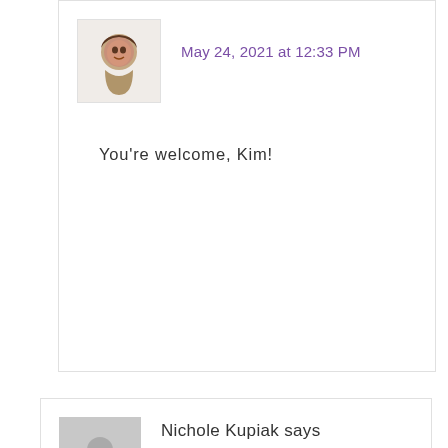May 24, 2021 at 12:33 PM
You're welcome, Kim!
Nichole Kupiak says
November 14, 2021 at 4:25 PM
Hi Laura,
I'm new to your blog, but am so excited to find you as a new resource for a soon to be teacher librarian! This particular blog topic stood out to me because I